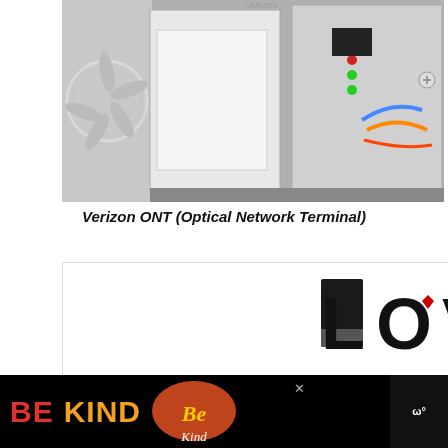[Figure (photo): Verizon ONT (Optical Network Terminal) device mounted in an enclosure, showing electronic components, green LED indicators, wiring including blue and orange cables, and a fan on the left side.]
Verizon ONT (Optical Network Terminal)
[Figure (photo): Advertisement showing decorative 'LOVE' text in black and white artistic lettering style with a small red heart detail.]
[Figure (photo): Bottom advertisement banner on black background showing 'BE KIND' text with red and orange lettering, accompanied by a colorful floral/script design image and a logo on the right.]